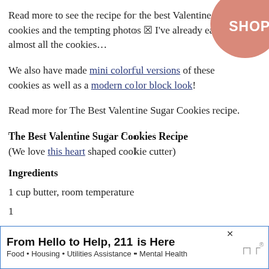Read more to see the recipe for the best Valentine sugar cookies and the tempting photos ☒ I've already eaten almost all the cookies…
[Figure (illustration): Pink/salmon circular badge with 'SHOP' text in white, positioned top-right corner]
We also have made mini colorful versions of these cookies as well as a modern color block look!
Read more for The Best Valentine Sugar Cookies recipe.
The Best Valentine Sugar Cookies Recipe
(We love this heart shaped cookie cutter)
Ingredients
1 cup butter, room temperature
1
From Hello to Help, 211 is Here
Food • Housing • Utilities Assistance • Mental Health